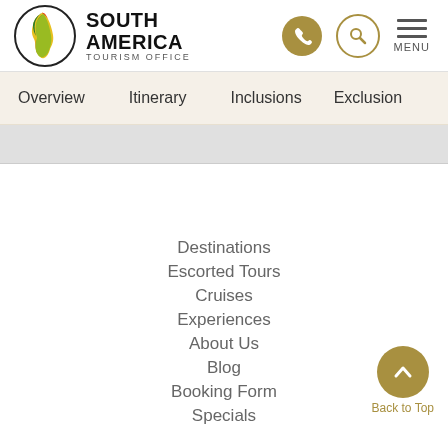[Figure (logo): South America Tourism Office logo with colorful South America continent map in a circle, beside bold text 'SOUTH AMERICA TOURISM OFFICE']
Overview   Itinerary   Inclusions   Exclusions
Destinations
Escorted Tours
Cruises
Experiences
About Us
Blog
Booking Form
Specials
Back to Top